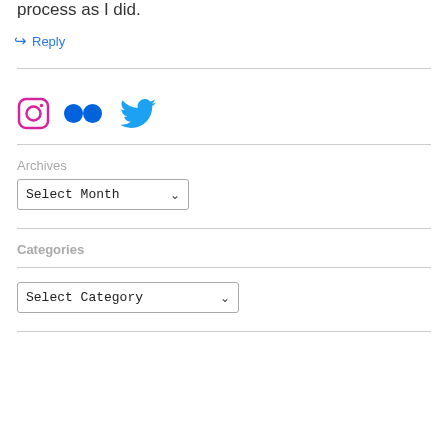process as I did.
↳ Reply
[Figure (other): Social media icons: Instagram, Flickr, Twitter]
Archives
Select Month (dropdown)
Categories
Select Category (dropdown)